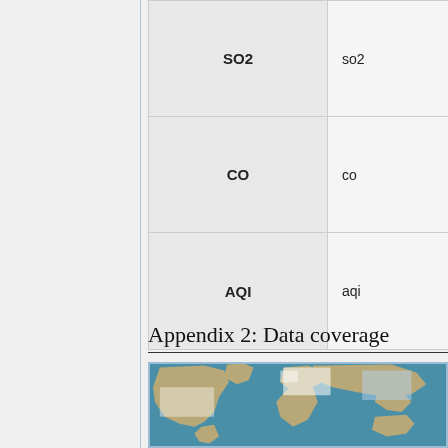| Name | Parameter | Description |
| --- | --- | --- |
| SO2 | so2 | SO2 |
| CO | co | CO |
| AQI | aqi | AQI by US and China standard |
Appendix 2: Data coverage
[Figure (map): World map showing data coverage with highlighted regions in North America, Europe, and parts of Asia]